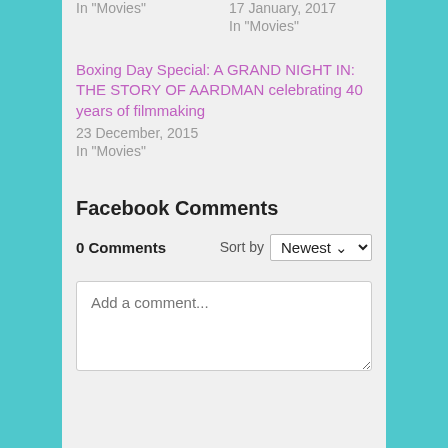In "Movies"
17 January, 2017
In "Movies"
Boxing Day Special: A GRAND NIGHT IN: THE STORY OF AARDMAN celebrating 40 years of filmmaking
23 December, 2015
In "Movies"
Facebook Comments
0 Comments
Sort by Newest
Add a comment...